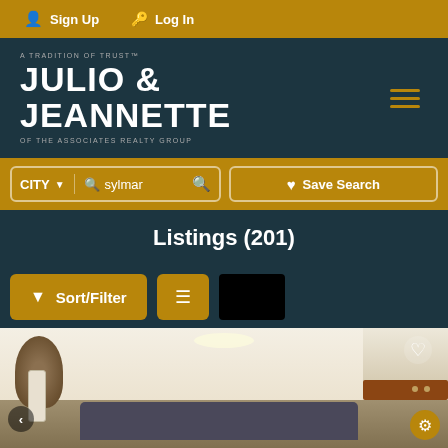Sign Up   Log In
A TRADITION OF TRUST™
JULIO &
JEANNETTE
OF THE ASSOCIATES REALTY GROUP
CITY  sylmar  Save Search
Listings (201)
Sort/Filter
[Figure (photo): Interior photo of a living room with beige walls, crown molding, sofa, decorative mirror, and shelving on the right side]